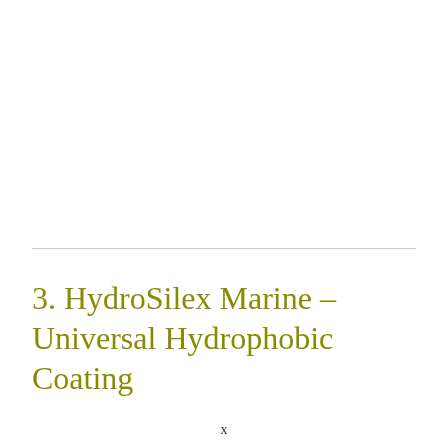3. HydroSilex Marine – Universal Hydrophobic Coating